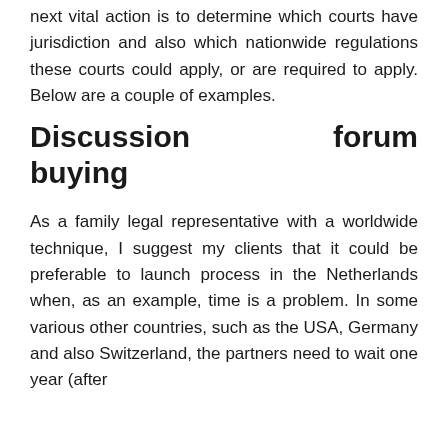next vital action is to determine which courts have jurisdiction and also which nationwide regulations these courts could apply, or are required to apply. Below are a couple of examples.
Discussion forum buying
As a family legal representative with a worldwide technique, I suggest my clients that it could be preferable to launch process in the Netherlands when, as an example, time is a problem. In some various other countries, such as the USA, Germany and also Switzerland, the partners need to wait one year (after